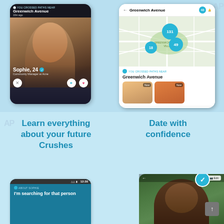[Figure (screenshot): Top-left: Dating app screenshot showing a woman named Sophie, 24, Community Manager at Acne. Location shown as Greenwich Avenue, 10 minutes ago. Action buttons (X, arrow, heart) at bottom.]
[Figure (screenshot): Top-right: Dating app map view showing Greenwich Avenue with user count bubbles (131, 49, 18) on a street map. Below the map shows crossed paths near Greenwich Avenue with two profile photos labelled 'Now'.]
[Figure (screenshot): Bottom-left: Light blue panel with text 'Learn everything about your future Crushes' and a phone screenshot showing 'About Sophie' bio starting with 'I'm searching for that person']
[Figure (screenshot): Bottom-right: Light blue panel with text 'Date with confidence' and a phone screenshot of a man's profile with teal verification badge and camera/edit icon.]